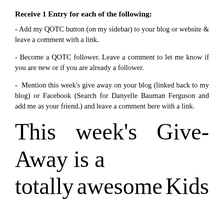Receive 1 Entry for each of the following:
- Add my QOTC button (on my sidebar) to your blog or website & leave a comment with a link.
- Become a QOTC follower. Leave a comment to let me know if you are new or if you are already a follower.
- Mention this week's give away on your blog (linked back to my blog) or Facebook (Search for Danyelle Bauman Ferguson and add me as your friend.) and leave a comment here with a link.
This week's Give-Away is a totally awesome Kids